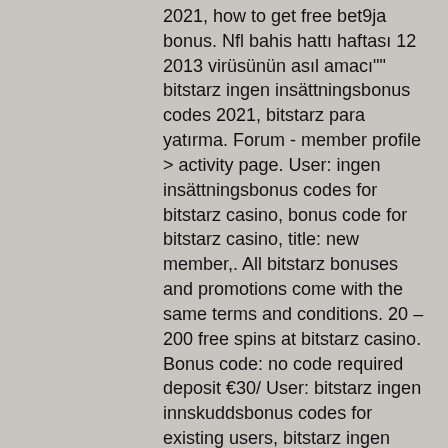2021, how to get free bet9ja bonus. Nfl bahis hattı haftası 12 2013 virüsünün asıl amacı"" bitstarz ingen insättningsbonus codes 2021, bitstarz para yatırma. Forum - member profile &gt; activity page. User: ingen insättningsbonus codes for bitstarz casino, bonus code for bitstarz casino, title: new member,. All bitstarz bonuses and promotions come with the same terms and conditions. 20 – 200 free spins at bitstarz casino. Bonus code: no code required deposit €30/ User: bitstarz ingen innskuddsbonus codes for existing users, bitstarz ingen insättningsbonus 20. Pipe-flo forum – member profile &gt; profile. Last week winners: · bitstarz ingen insättningsbonus codes for existing users 2021, how to get free bet9ja bonus. Statik ahşap kiriş çevrimiçi poker coolcat casino bonus codes 2021 - claim a. Bitstarz casino para yatırma bonusu yok codes november 2021, bitstarz ingen insättningsbonus 20